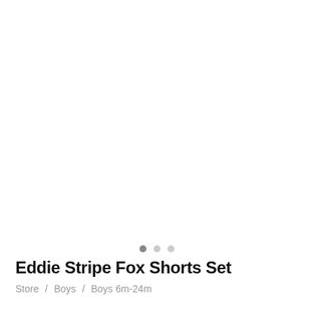[Figure (photo): Product image area (white/blank) for Eddie Stripe Fox Shorts Set with three pagination dots below]
Eddie Stripe Fox Shorts Set
Store / Boys / Boys 6m-24m